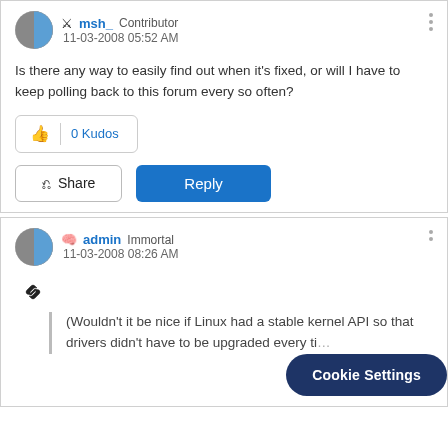msh_  Contributor  11-03-2008 05:52 AM
Is there any way to easily find out when it's fixed, or will I have to keep polling back to this forum every so often?
0 Kudos
Share  Reply
admin  Immortal  11-03-2008 08:26 AM
(Wouldn't it be nice if Linux had a stable kernel API so that drivers didn't have to be upgraded every ti...
Cookie Settings